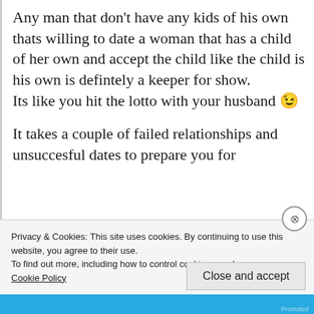Any man that don't have any kids of his own thats willing to date a woman that has a child of her own and accept the child like the child is his own is defintely a keeper for show.
Its like you hit the lotto with your husband 😉
It takes a couple of failed relationships and unsuccesful dates to prepare you for
Privacy & Cookies: This site uses cookies. By continuing to use this website, you agree to their use.
To find out more, including how to control cookies, see here: Cookie Policy
Close and accept